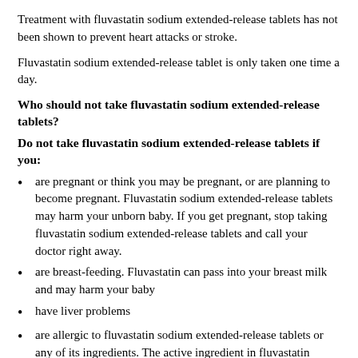Treatment with fluvastatin sodium extended-release tablets has not been shown to prevent heart attacks or stroke.
Fluvastatin sodium extended-release tablet is only taken one time a day.
Who should not take fluvastatin sodium extended-release tablets?
Do not take fluvastatin sodium extended-release tablets if you:
are pregnant or think you may be pregnant, or are planning to become pregnant. Fluvastatin sodium extended-release tablets may harm your unborn baby. If you get pregnant, stop taking fluvastatin sodium extended-release tablets and call your doctor right away.
are breast-feeding. Fluvastatin can pass into your breast milk and may harm your baby
have liver problems
are allergic to fluvastatin sodium extended-release tablets or any of its ingredients. The active ingredient in fluvastatin sodium extended-release tablets is fluvastatin. See the end of this leaflet for a complete list of ingredients in fluvastatin sodium extended-release tablets.
Fluvastatin sodium extended-release tablets have not been